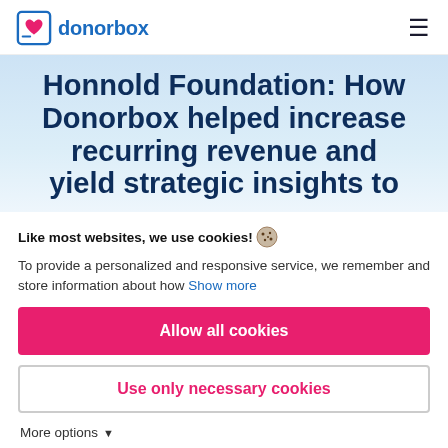donorbox
Honnold Foundation: How Donorbox helped increase recurring revenue and yield strategic insights to
Like most websites, we use cookies! 🍪
To provide a personalized and responsive service, we remember and store information about how  Show more
Allow all cookies
Use only necessary cookies
More options ▾